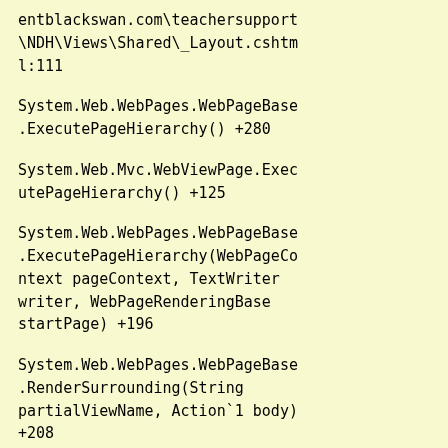entblackswan.com\teachersupport\NDH\Views\Shared\_Layout.cshtml:111
System.Web.WebPages.WebPageBase.ExecutePageHierarchy() +280
System.Web.Mvc.WebViewPage.ExecutePageHierarchy() +125
System.Web.WebPages.WebPageBase.ExecutePageHierarchy(WebPageContext pageContext, TextWriter writer, WebPageRenderingBase startPage) +196
System.Web.WebPages.WebPageBase.RenderSurrounding(String partialViewName, Action`1 body) +208
System.Web.WebPages.WebPageBase.PopContext() +192